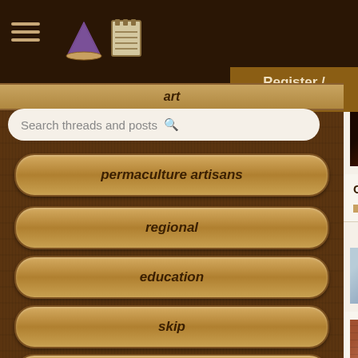permies.com forum navigation header with hamburger menu, pie icon, and Register/Login button
art
Search threads and posts
permaculture artisans
regional
education
skip
experiences
global resources
cider press
26 replies
Dipping straw bales int
25 replies
Cob/hay bale homes.
9 replies
Bathroom Remodel/Re
26 replies
Straw bale house - finis
9 replies